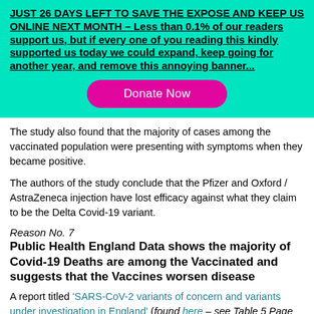JUST 26 DAYS LEFT TO SAVE THE EXPOSE AND KEEP US ONLINE NEXT MONTH – Less than 0.1% of our readers support us, but if every one of you reading this kindly supported us today we could expand, keep going for another year, and remove this annoying banner...
Donate Now
The study also found that the majority of cases among the vaccinated population were presenting with symptoms when they became positive.
The authors of the study conclude that the Pfizer and Oxford / AstraZeneca injection have lost efficacy against what they claim to be the Delta Covid-19 variant.
Reason No. 7
Public Health England Data shows the majority of Covid-19 Deaths are among the Vaccinated and suggests that the Vaccines worsen disease
A report titled 'SARS-CoV-2 variants of concern and variants under investigation in England' (found here – see Table 5 Page 21), is the 22nd technical briefing on alleged variants of concern in the